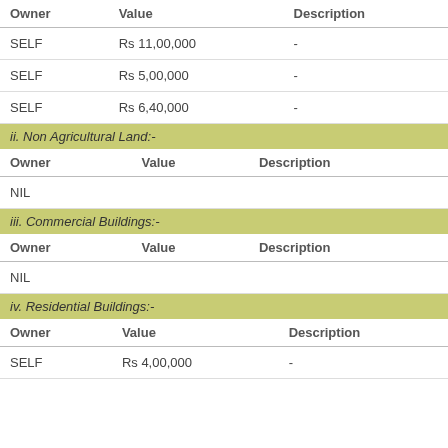| Owner | Value | Description |
| --- | --- | --- |
| SELF | Rs 11,00,000 | - |
| SELF | Rs 5,00,000 | - |
| SELF | Rs 6,40,000 | - |
ii. Non Agricultural Land:-
| Owner | Value | Description |
| --- | --- | --- |
| NIL |  |  |
iii. Commercial Buildings:-
| Owner | Value | Description |
| --- | --- | --- |
| NIL |  |  |
iv. Residential Buildings:-
| Owner | Value | Description |
| --- | --- | --- |
| SELF | Rs 4,00,000 | - |